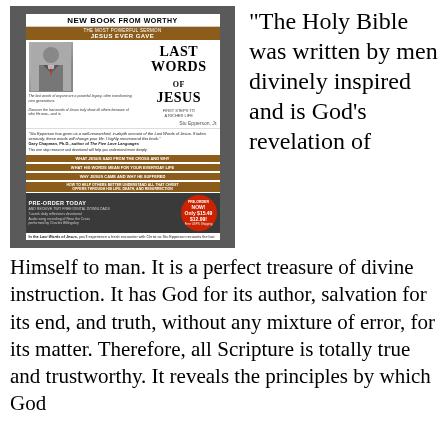[Figure (illustration): Book cover advertisement for 'Last Words of Jesus' by Stu Epperson Jr., a new book from Worthy. Shows a man in a suit on the left, the book title prominently displayed, a pre-order section, and the website www.LastWordsofJesus.com. Background is dark gray.]
“The Holy Bible was written by men divinely inspired and is God’s revelation of Himself to man. It is a perfect treasure of divine instruction. It has God for its author, salvation for its end, and truth, without any mixture of error, for its matter. Therefore, all Scripture is totally true and trustworthy. It reveals the principles by which God
www.LastWordsofJesus.com